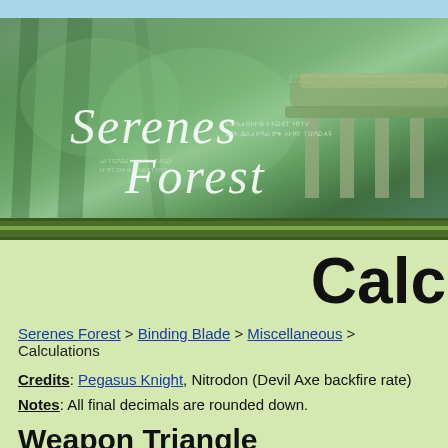[Figure (illustration): Serenes Forest website banner with green forest/nature background and a stone pavilion on the right. White italic cursive text reads 'Serenes Forest' with decorative script subtitle text.]
Calc
Serenes Forest > Binding Blade > Miscellaneous > Calculations
Credits: Pegasus Knight, Nitrodon (Devil Axe backfire rate)
Notes: All final decimals are rounded down.
Weapon Triangle